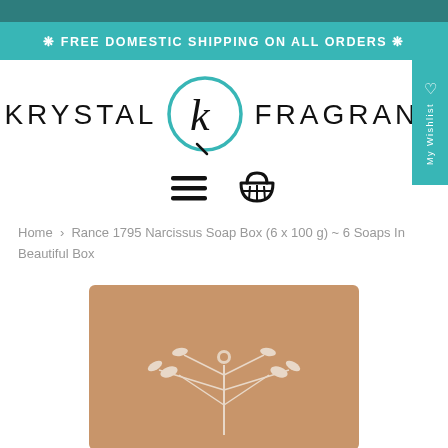❋ FREE DOMESTIC SHIPPING ON ALL ORDERS ❋
[Figure (logo): Krystal Fragrance logo with stylized K in a teal circle between the words KRYSTAL and FRAGRANC]
[Figure (infographic): Navigation icons: hamburger menu and shopping cart]
Home › Rance 1795 Narcissus Soap Box (6 x 100 g) ~ 6 Soaps In Beautiful Box
[Figure (photo): Tan/beige soap box with white floral botanical illustration on the front]